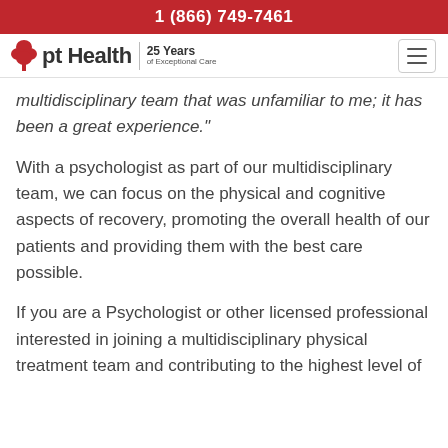1 (866) 749-7461
[Figure (logo): pt Health logo with tree icon and '25 Years of Exceptional Care' tagline, plus hamburger menu icon]
multidisciplinary team that was unfamiliar to me; it has been a great experience."
With a psychologist as part of our multidisciplinary team, we can focus on the physical and cognitive aspects of recovery, promoting the overall health of our patients and providing them with the best care possible.
If you are a Psychologist or other licensed professional interested in joining a multidisciplinary physical treatment team and contributing to the highest level of